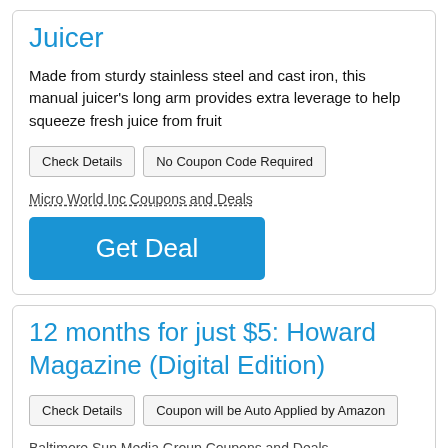Juicer
Made from sturdy stainless steel and cast iron, this manual juicer's long arm provides extra leverage to help squeeze fresh juice from fruit
Check Details | No Coupon Code Required
Micro World Inc Coupons and Deals
Get Deal
12 months for just $5: Howard Magazine (Digital Edition)
Check Details | Coupon will be Auto Applied by Amazon
Baltimore Sun Media Group Coupons and Deals